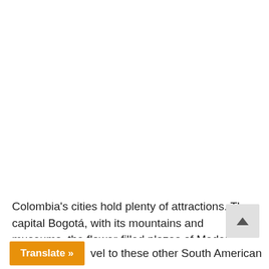Colombia's cities hold plenty of attractions. The capital Bogotá, with its mountains and museums, the flower-filled plazas of Medellin, Cali the world's salsa capital and Cartagena, the jewel of the Caribbean coast. Once again, Jamaican can visit visa-free that allow 180 days roaming the beautiful cities of Colombia.
Translate » vel to these other South American